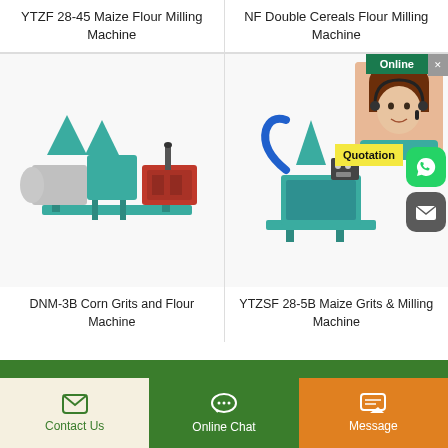YTZF 28-45 Maize Flour Milling Machine
NF Double Cereals Flour Milling Machine
[Figure (photo): DNM-3B Corn Grits and Flour Machine - green and red milling machine with multiple hoppers]
DNM-3B Corn Grits and Flour Machine
[Figure (photo): YTZSF 28-5B Maize Grits & Milling Machine - teal colored milling machine with hopper, with online chat overlay showing agent photo, Quotation badge, WhatsApp and email icons]
YTZSF 28-5B Maize Grits & Milling Machine
Contact Us | Online Chat | Message